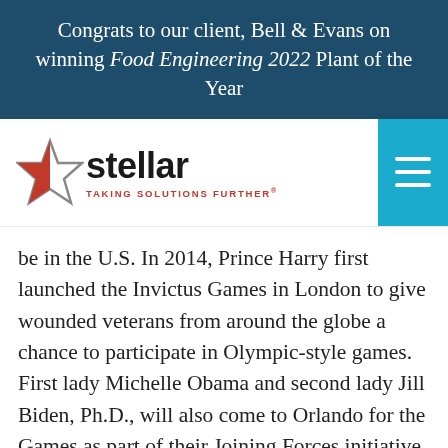Congrats to our client, Bell & Evans on winning Food Engineering 2022 Plant of the Year
[Figure (logo): Stellar logo with star icon and tagline 'TAKING SOLUTIONS FURTHER']
be in the U.S. In 2014, Prince Harry first launched the Invictus Games in London to give wounded veterans from around the globe a chance to participate in Olympic-style games. First lady Michelle Obama and second lady Jill Biden, Ph.D., will also come to Orlando for the Games as part of their Joining Forces initiative.
“We’re honored to help Shades of Green upgrade its facilities to accommodate athletes